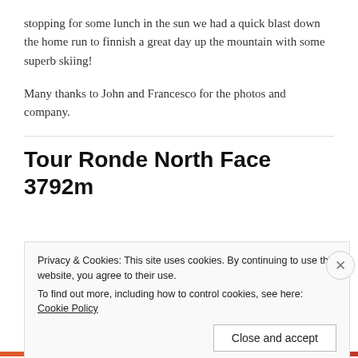stopping for some lunch in the sun we had a quick blast down the home run to finnish a great day up the mountain with some superb skiing!
Many thanks to John and Francesco for the photos and company.
Tour Ronde North Face 3792m
Privacy & Cookies: This site uses cookies. By continuing to use this website, you agree to their use.
To find out more, including how to control cookies, see here: Cookie Policy
Close and accept